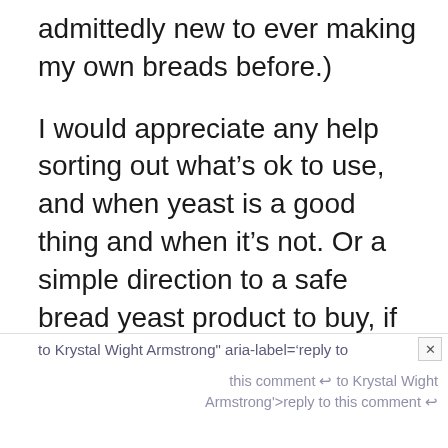admittedly new to ever making my own breads before.)
I would appreciate any help sorting out what’s ok to use, and when yeast is a good thing and when it’s not. Or a simple direction to a safe bread yeast product to buy, if you don’t have the time to spell it all out for me otherwise. : )
Thank you much!
to Krystal Wight Armstrong" aria-label=‘reply to this comment ↩ to Krystal Wight Armstrong’>reply to this comment ↩